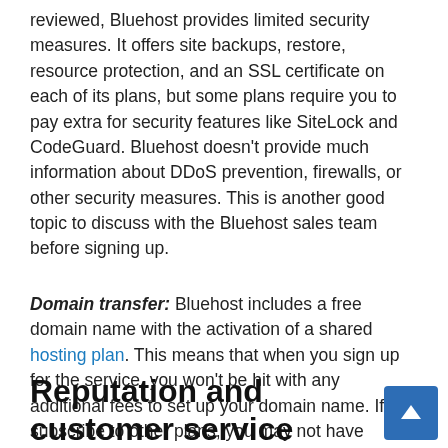reviewed, Bluehost provides limited security measures. It offers site backups, restore, resource protection, and an SSL certificate on each of its plans, but some plans require you to pay extra for security features like SiteLock and CodeGuard. Bluehost doesn't provide much information about DDoS prevention, firewalls, or other security measures. This is another good topic to discuss with the Bluehost sales team before signing up.
Domain transfer: Bluehost includes a free domain name with the activation of a shared hosting plan. This means that when you sign up for the service, you won't be hit with any additional fees to set up your domain name. If you subscribe to other plans, you may not have access to a free domain name.
Reputation and customer service